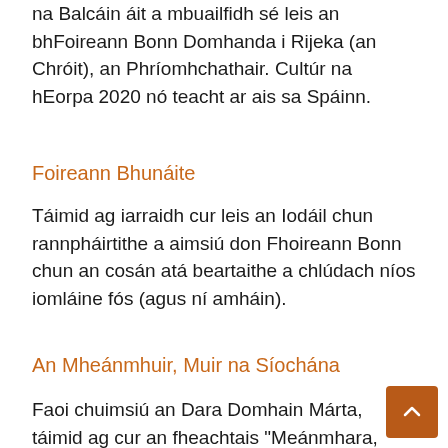na Balcáin áit a mbuailfidh sé leis an bhFoireann Bonn Domhanda i Rijeka (an Chróit), an Phríomhchathair. Cultúr na hEorpa 2020 nó teacht ar ais sa Spáinn.
Foireann Bhunáite
Táimid ag iarraidh cur leis an Iodáil chun rannpháirtithe a aimsiú don Fhoireann Bonn chun an cosán atá beartaithe a chlúdach níos iomláine fós (agus ní amháin).
An Mheánmhuir, Muir na Síochána
Faoi chuimsiú an Dara Domhain Márta, táimid ag cur an fheachtais "Meánmhara,